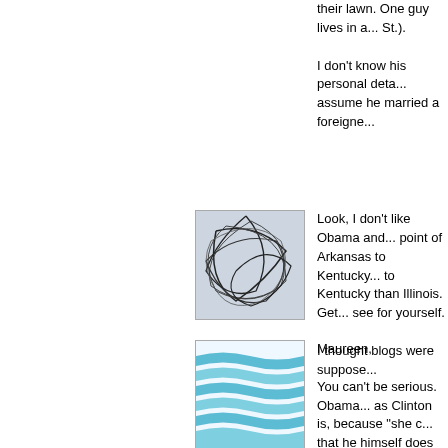their lawn. One guy lives in a... St.).
I don't know his personal deta... assume he married a foreigne...
[Figure (illustration): Abstract line drawing avatar — dark tangled lines on light blue/grey background]
Look, I don't like Obama and... point of Arkansas to Kentucky... to Kentucky than Illinois. Get... see for yourself.
I thought blogs were suppose...
[Figure (illustration): Avatar with wavy horizontal blue/teal stripes on white background]
Maureen,
You can't be serious. Obama... as Clinton is, because "she c... that he himself does not com... to KY than AR is to IL as you... IL (Obama's home state) is to... "nearby state" advantage in K...